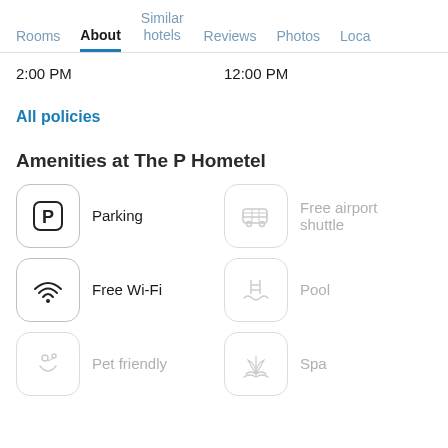Rooms | About | Similar hotels | Reviews | Photos | Loca...
2:00 PM    12:00 PM
All policies
Amenities at The P Hometel
Parking
Free airport shuttle
Free Wi-Fi
Pool
Pet friendly
Spa